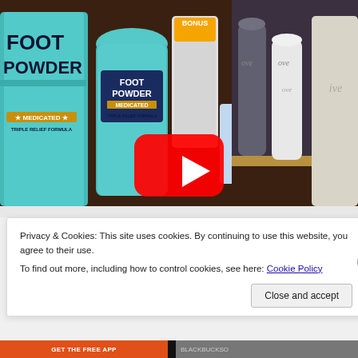[Figure (photo): A YouTube video thumbnail/screenshot showing shelves with foot powder products including a large teal/blue container labeled 'FOOT POWDER MEDICATED', a smaller blue bottle, a white bottle labeled 'BONUS', and several spray/deodorant bottles on a wooden shelf, with a red YouTube play button overlay in the center.]
Privacy & Cookies: This site uses cookies. By continuing to use this website, you agree to their use.
To find out more, including how to control cookies, see here: Cookie Policy
Close and accept